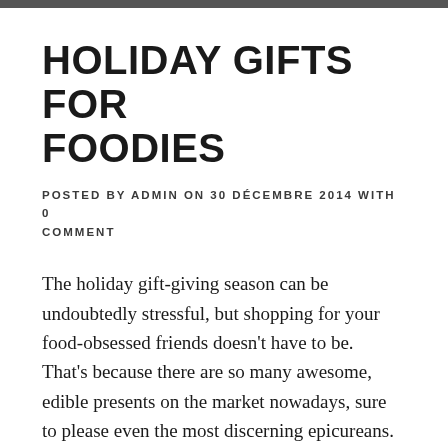HOLIDAY GIFTS FOR FOODIES
POSTED BY ADMIN ON 30 DÉCEMBRE 2014 WITH 0 COMMENT
The holiday gift-giving season can be undoubtedly stressful, but shopping for your food-obsessed friends doesn't have to be.  That's because there are so many awesome, edible presents on the market nowadays, sure to please even the most discerning epicureans.  From an elite collection of whiskeys to a cookbook all about, well, cookbooks!
Sweet potatoes also form the base of an intriguing side